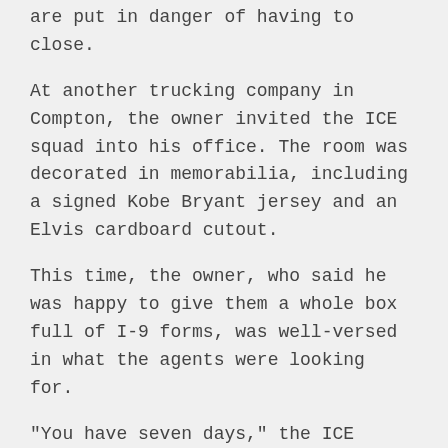are put in danger of having to close.
At another trucking company in Compton, the owner invited the ICE squad into his office. The room was decorated in memorabilia, including a signed Kobe Bryant jersey and an Elvis cardboard cutout.
This time, the owner, who said he was happy to give them a whole box full of I-9 forms, was well-versed in what the agents were looking for.
"You have seven days," the ICE auditor said.
Read more:http://www.latimes.com/local/lanow/la-me-ln-ice-audits-20180216-story.html
Share this: